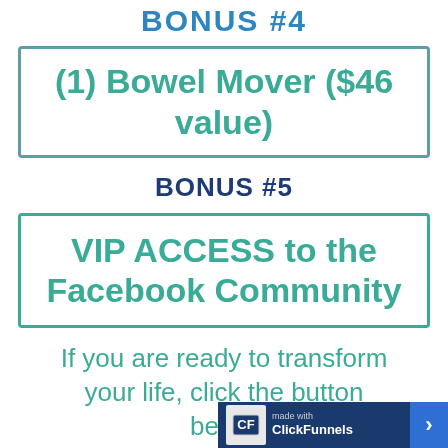BONUS #4
(1) Bowel Mover ($46 value)
BONUS #5
VIP ACCESS to the Facebook Community
If you are ready to transform your life, click the button below